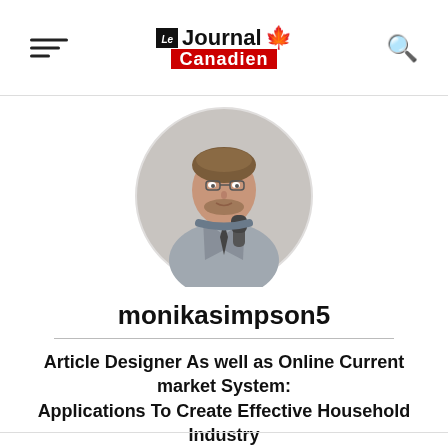Le Journal Canadien
[Figure (photo): Circular profile photo of a man in a grey coat holding a microphone, reporter style]
monikasimpson5
Article Designer As well as Online Current market System: Applications To Create Effective Household Industry
[Figure (photo): Circular profile photo of a man in a grey coat holding a microphone, reporter style (second instance)]